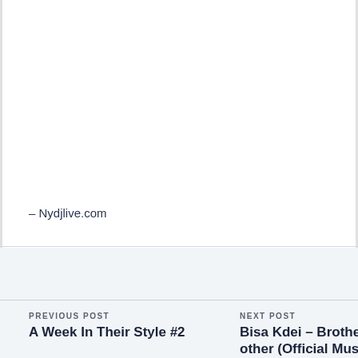– Nydjlive.com
PREVIOUS POST
A Week In Their Style #2
NEXT POST
Bisa Kdei – Brother Brother (Official Music V